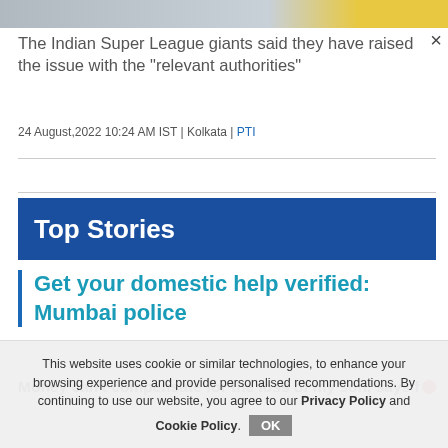[Figure (photo): Top image strip showing partial photo of people, with yellow section on right]
The Indian Super League giants said they have raised the issue with the "relevant authorities"
24 August,2022 10:24 AM IST | Kolkata | PTI
Top Stories
Get your domestic help verified: Mumbai police
Money can't compensate for the loss of my son, says f[ather]
This website uses cookie or similar technologies, to enhance your browsing experience and provide personalised recommendations. By continuing to use our website, you agree to our Privacy Policy and Cookie Policy.